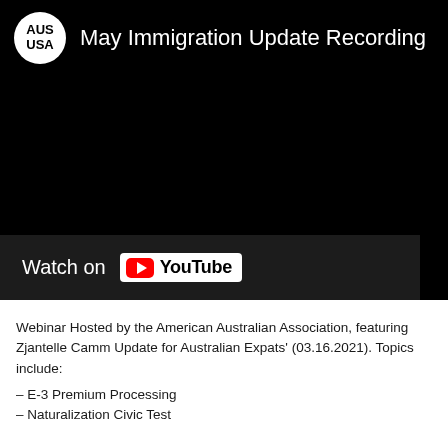[Figure (screenshot): YouTube video embed showing 'May Immigration Update Recording'. Black video thumbnail with AUS USA logo circle in top left, white title text. Bottom bar shows 'Watch on YouTube' with YouTube logo badge.]
Webinar Hosted by the American Australian Association, featuring Zjantelle Camm Update for Australian Expats' (03.16.2021). Topics include:
– E-3 Premium Processing
– Naturalization Civic Test